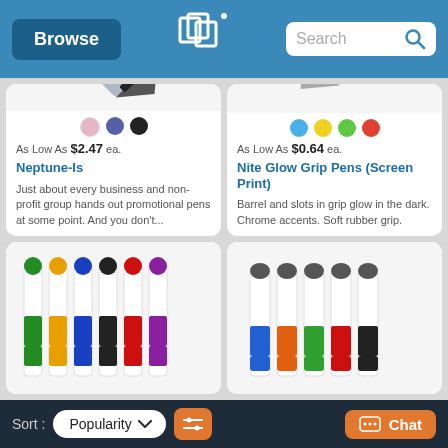Browse | Search
[Figure (photo): Product card: Neptune-Is pen, close-up of pen tip, color options pink/purple/black, price As Low As $2.47 ea.]
As Low As $2.47 ea.
Neptune-Is
Just about every business and non-profit group hands out promotional pens at some point. And you don't...
[Figure (photo): Product card: Nite Glow Grip Pens (Screen Print), close-up of orange grip pen tip, color options blue/yellow/green/red, price As Low As $0.64 ea.]
As Low As $0.64 ea.
Nite Glow Grip Pens (Screen Print)
Barrel and slots in grip glow in the dark. Chrome accents. Soft rubber grip.
[Figure (photo): Bottom-left product card: multiple colored pens in green, yellow, blue, black, red, purple with white barrels]
[Figure (photo): Bottom-right product card: white barrel stylus pens with colored accents in blue, orange, green, red, black]
Sort : Popularity  [filter icon]  [Chat button]